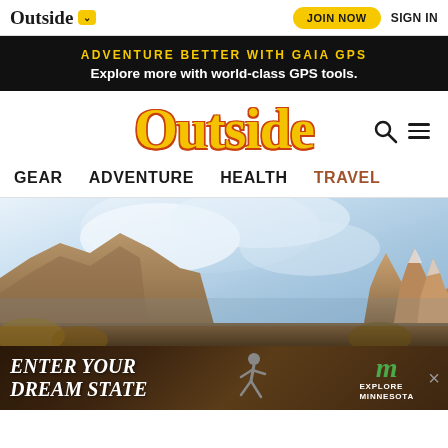Outside ▾   JOIN NOW   SIGN IN
ADVENTURE BETTER WITH GAIA GPS
Explore more with world-class GPS tools.
Outside
GEAR   ADVENTURE   HEALTH   TRAVEL
[Figure (photo): Mountain landscape with rocky peaks under a blue sky with clouds, autumn foliage in foreground]
[Figure (infographic): Advertisement banner: ENTER YOUR DREAM STATE, with figure running and Explore Minnesota logo]